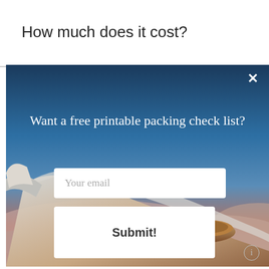How much does it cost?
[Figure (photo): Modal popup over a webpage. Background shows an airplane wing viewed from a passenger window against a blue and orange sunset sky with clouds below. The modal contains text 'Want a free printable packing check list?' with an email input field and a Submit! button.]
Want a free printable packing check list?
Your email
Submit!